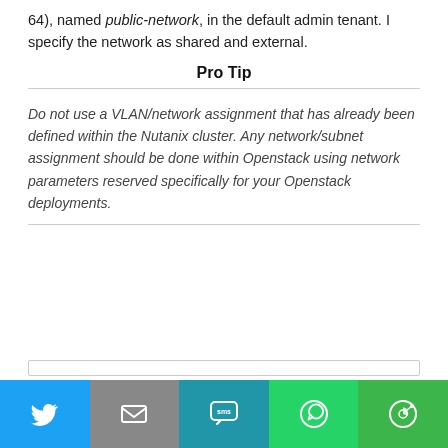64), named public-network, in the default admin tenant. I specify the network as shared and external.
Pro Tip
Do not use a VLAN/network assignment that has already been defined within the Nutanix cluster. Any network/subnet assignment should be done within Openstack using network parameters reserved specifically for your Openstack deployments.
[Figure (other): Social sharing bar with Twitter, Email, SMS, WhatsApp, and More icons]